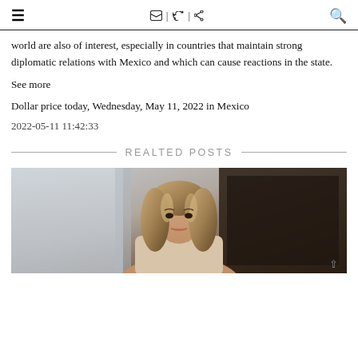≡  f | 𝕏 | P  🔍
world are also of interest, especially in countries that maintain strong diplomatic relations with Mexico and which can cause reactions in the state.
See more
Dollar price today, Wednesday, May 11, 2022 in Mexico
2022-05-11 11:42:33
REALTED POSTS
[Figure (photo): Portrait photo of a woman with long highlighted hair, wearing a light-colored outfit, in front of a curtain/window background]